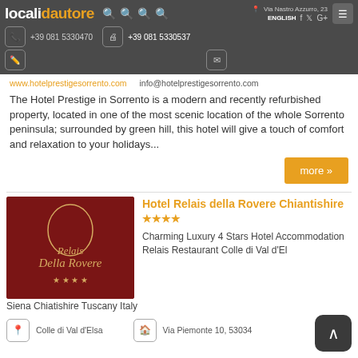localidautore — website header with logo, search icons, language selector, social icons, phone +39 081 5330537, address Via Nastro Azzurro 23, ENGLISH, Facebook, Twitter, Google+, menu button, contact icons
www.hotelprestigesorrento.com    info@hotelprestigesorrento.com
The Hotel Prestige in Sorrento is a modern and recently refurbished property, located in one of the most scenic location of the whole Sorrento peninsula; surrounded by green hill, this hotel will give a touch of comfort and relaxation to your holidays...
more »
Hotel Relais della Rovere Chiantishire ★★★★
Charming Luxury 4 Stars Hotel Accommodation Relais Restaurant Colle di Val d'Elsa Siena Chiatishire Tuscany Italy
Colle di Val d'Elsa    Via Piemonte 10, 53034